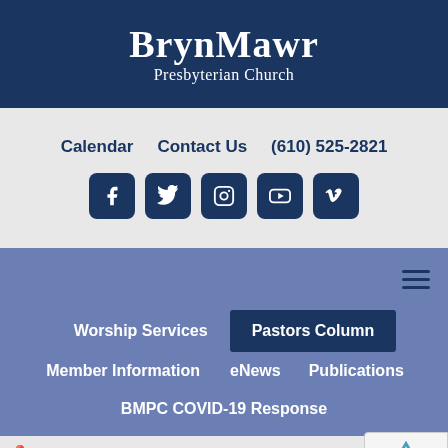BrynMawr Presbyterian Church
Calendar   Contact Us   (610) 525-2821
[Figure (infographic): Row of 5 social media icons: Facebook, Twitter, Instagram, YouTube, Vimeo — each in a dark navy rounded square]
Worship Services   Pastors Column
Member Information   eNews   Publications
BMPC COVID-19 Response
Home / Resources / Pastors Column / So Much to Share